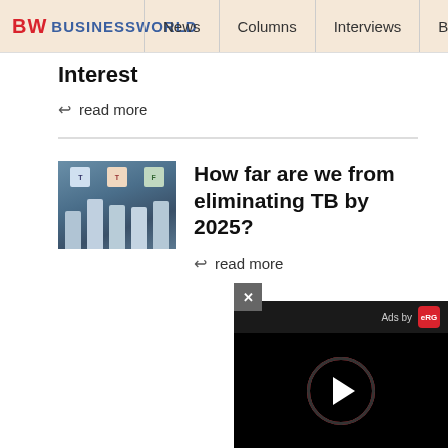BW BUSINESSWORLD | News | Columns | Interviews | BW
Interest
read more
[Figure (photo): Panel discussion at a conference with several people seated at a table]
How far are we from eliminating TB by 2025?
read more
Advertisement
[Figure (screenshot): Video player overlay with Ads by eRG branding and play button with red circle ring on black background]